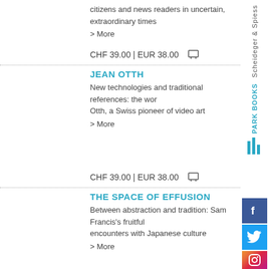citizens and news readers in uncertain, extraordinary times
> More
CHF 39.00 | EUR 38.00
JEAN OTTH
New technologies and traditional references: the work of Jean Otth, a Swiss pioneer of video art
> More
CHF 39.00 | EUR 38.00
THE SPACE OF EFFUSION
Between abstraction and tradition: Sam Francis's fruitful encounters with Japanese culture
> More